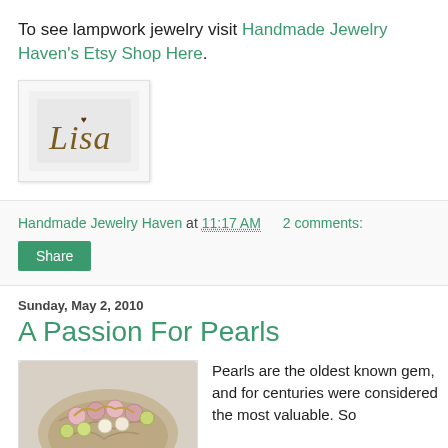To see lampwork jewelry visit Handmade Jewelry Haven's Etsy Shop Here.
[Figure (illustration): Handwritten signature reading 'Lisa' in brownish cursive on a light background, inside a bordered box.]
Handmade Jewelry Haven at 11:17 AM   2 comments:
Share
Sunday, May 2, 2010
A Passion For Pearls
[Figure (photo): Photo of an ornate pearl and gemstone bracelet or jewelry piece draped over a rough stone or coral surface. The jewelry features pink, green, and cream pearls with metallic accents.]
Pearls are the oldest known gem, and for centuries were considered the most valuable. So